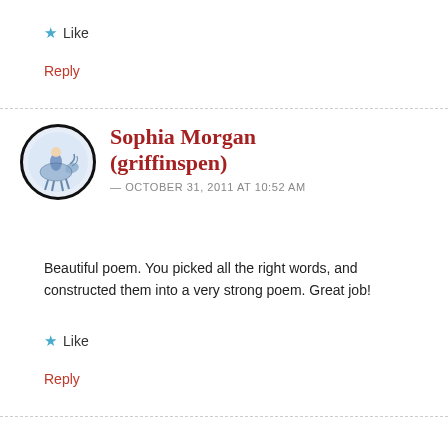★ Like
Reply
Sophia Morgan (griffinspen) — OCTOBER 31, 2011 AT 10:52 AM
Beautiful poem. You picked all the right words, and constructed them into a very strong poem. Great job!
★ Like
Reply